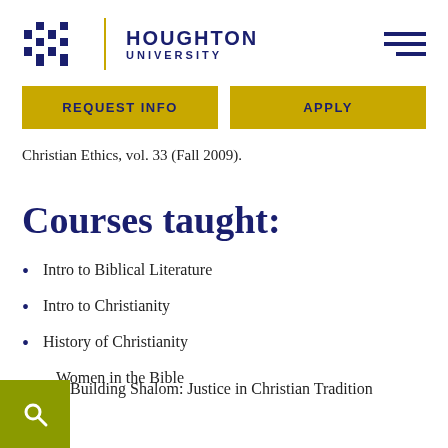Houghton University
REQUEST INFO   APPLY
Christian Ethics, vol. 33 (Fall 2009).
Courses taught:
Intro to Biblical Literature
Intro to Christianity
History of Christianity
Women in the Bible
Building Shalom: Justice in Christian Tradition